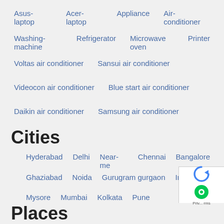Asus-laptop   Acer-laptop   Appliance   Air-conditioner
Washing-machine   Refrigerator   Microwave oven   Printer
Voltas air conditioner   Sansui air conditioner
Videocon air conditioner   Blue start air conditioner
Daikin air conditioner   Samsung air conditioner
Cities
Hyderabad   Delhi   Near-me   Chennai   Bangalore
Ghaziabad   Noida   Gurugram gurgaon   India
Mysore   Mumbai   Kolkata   Pune
Places